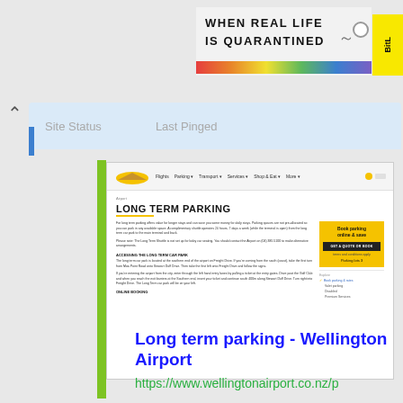[Figure (screenshot): Banner advertisement: 'WHEN REAL LIFE IS QUARANTINED' with rainbow strip and BitL branding]
[Figure (screenshot): Site status bar showing 'Site Status' and 'Last Pinged' columns with light blue background]
[Figure (screenshot): Wellington Airport website screenshot showing Long Term Parking page with navigation, content, and booking sidebar]
Long term parking - Wellington Airport
https://www.wellingtonairport.co.nz/p